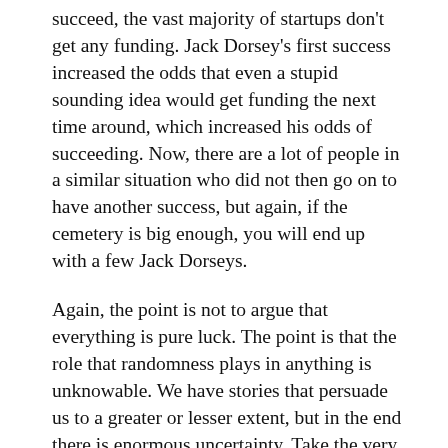succeed, the vast majority of startups don't get any funding. Jack Dorsey's first success increased the odds that even a stupid sounding idea would get funding the next time around, which increased his odds of succeeding. Now, there are a lot of people in a similar situation who did not then go on to have another success, but again, if the cemetery is big enough, you will end up with a few Jack Dorseys.
Again, the point is not to argue that everything is pure luck. The point is that the role that randomness plays in anything is unknowable. We have stories that persuade us to a greater or lesser extent, but in the end there is enormous uncertainty. Take the very debate over whether we are in a stagnation or a period of accelerating progress. The debate is very robust; with a great deal of evidence brought to bear on both sides of the argument. And everyone can think of alternative stories to fit the data–when I